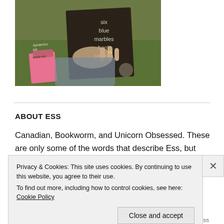[Figure (photo): Person sitting on grass holding up a dark book/notebook with 'six blue marbles book reviews' written on the cover in light text. Small books/items visible to the left side.]
ABOUT ESS
Canadian, Bookworm, and Unicorn Obsessed. These are only some of the words that describe Ess, but they're
Privacy & Cookies: This site uses cookies. By continuing to use this website, you agree to their use.
To find out more, including how to control cookies, see here: Cookie Policy
[Close and accept]